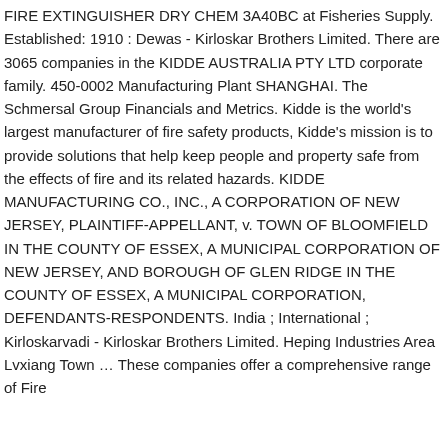FIRE EXTINGUISHER DRY CHEM 3A40BC at Fisheries Supply. Established: 1910 : Dewas - Kirloskar Brothers Limited. There are 3065 companies in the KIDDE AUSTRALIA PTY LTD corporate family. 450-0002 Manufacturing Plant SHANGHAI. The Schmersal Group Financials and Metrics. Kidde is the world's largest manufacturer of fire safety products, Kidde's mission is to provide solutions that help keep people and property safe from the effects of fire and its related hazards. KIDDE MANUFACTURING CO., INC., A CORPORATION OF NEW JERSEY, PLAINTIFF-APPELLANT, v. TOWN OF BLOOMFIELD IN THE COUNTY OF ESSEX, A MUNICIPAL CORPORATION OF NEW JERSEY, AND BOROUGH OF GLEN RIDGE IN THE COUNTY OF ESSEX, A MUNICIPAL CORPORATION, DEFENDANTS-RESPONDENTS. India ; International ; Kirloskarvadi - Kirloskar Brothers Limited. Heping Industries Area Lvxiang Town … These companies offer a comprehensive range of Fire